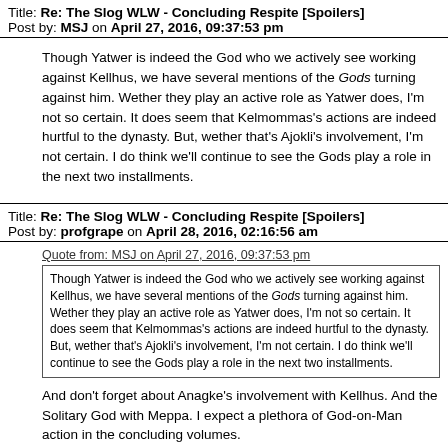Title: Re: The Slog WLW - Concluding Respite [Spoilers]
Post by: MSJ on April 27, 2016, 09:37:53 pm
Though Yatwer is indeed the God who we actively see working against Kellhus, we have several mentions of the Gods turning against him. Wether they play an active role as Yatwer does, I'm not so certain. It does seem that Kelmommas's actions are indeed hurtful to the dynasty. But, wether that's Ajokli's involvement, I'm not certain. I do think we'll continue to see the Gods play a role in the next two installments.
Title: Re: The Slog WLW - Concluding Respite [Spoilers]
Post by: profgrape on April 28, 2016, 02:16:56 am
Quote from: MSJ on April 27, 2016, 09:37:53 pm
Though Yatwer is indeed the God who we actively see working against Kellhus, we have several mentions of the Gods turning against him. Wether they play an active role as Yatwer does, I'm not so certain. It does seem that Kelmommas's actions are indeed hurtful to the dynasty. But, wether that's Ajokli's involvement, I'm not certain. I do think we'll continue to see the Gods play a role in the next two installments.
And don't forget about Anagke's involvement with Kellhus.  And the Solitary God with Meppa.  I expect a plethora of God-on-Man action in the concluding volumes.
Title: Re: The Slog WLW - Concluding Respite [Spoilers]
Post by: Bolivar on May 06, 2016, 06:39:09 pm